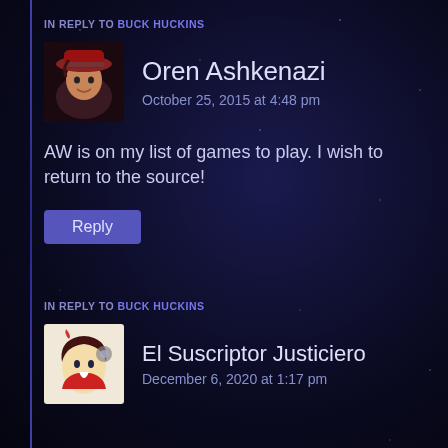IN REPLY TO BUCK HUCKINS
Oren Ashkenazi
October 25, 2015 at 4:48 pm
AW is on my list of games to play. I wish to return to the source!
Reply
IN REPLY TO BUCK HUCKINS
El Suscriptor Justiciero
December 6, 2020 at 1:17 pm